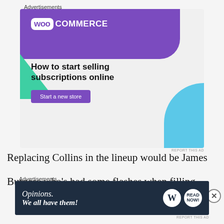Advertisements
[Figure (illustration): WooCommerce advertisement banner with purple header, WooCommerce logo, green triangle shape, blue curved shape, headline 'How to start selling subscriptions online', and 'Start a new store' button]
Replacing Collins in the lineup would be James
Burgess who's had some flashes when filling
Advertisements
[Figure (illustration): WordPress/opinion advertisement with dark navy background, italic text 'Opinions. We all have them!', WordPress logo circle and another circular logo]